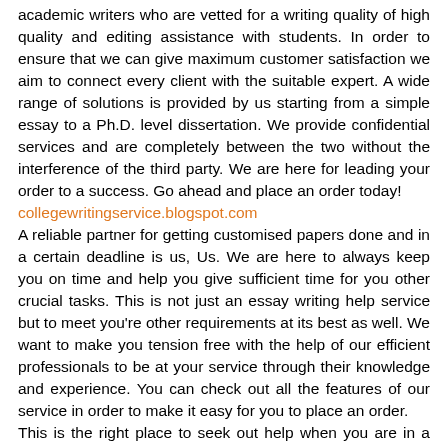academic writers who are vetted for a writing quality of high quality and editing assistance with students. In order to ensure that we can give maximum customer satisfaction we aim to connect every client with the suitable expert. A wide range of solutions is provided by us starting from a simple essay to a Ph.D. level dissertation. We provide confidential services and are completely between the two without the interference of the third party. We are here for leading your order to a success. Go ahead and place an order today!
collegewritingservice.blogspot.com
A reliable partner for getting customised papers done and in a certain deadline is us, Us. We are here to always keep you on time and help you give sufficient time for you other crucial tasks. This is not just an essay writing help service but to meet you're other requirements at its best as well. We want to make you tension free with the help of our efficient professionals to be at your service through their knowledge and experience. You can check out all the features of our service in order to make it easy for you to place an order.
This is the right place to seek out help when you are in a desperate need of completion of an assignment or any kind